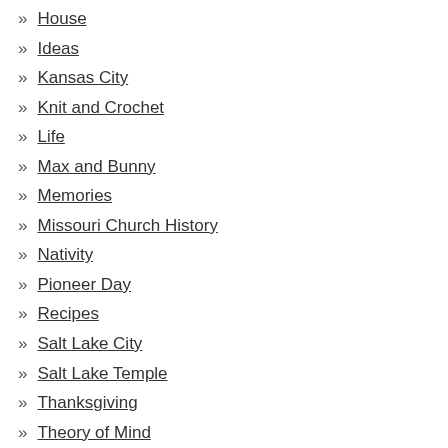House
Ideas
Kansas City
Knit and Crochet
Life
Max and Bunny
Memories
Missouri Church History
Nativity
Pioneer Day
Recipes
Salt Lake City
Salt Lake Temple
Thanksgiving
Theory of Mind